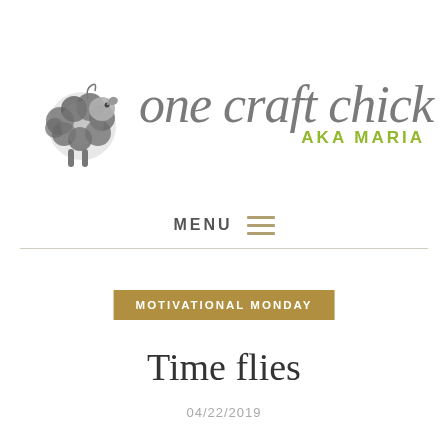[Figure (logo): One Craft Chick AKA Maria logo with illustrated sheep/yarn ball and handwritten-style script text]
MENU ≡
[Figure (other): Horizontal divider line]
MOTIVATIONAL MONDAY
Time flies
04/22/2019